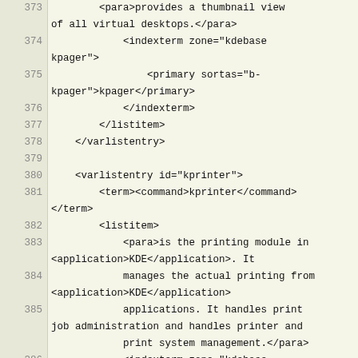Code listing lines 373–388 showing XML markup for KDE documentation including varlistentry elements for kpager and kprinter
373: <para>provides a thumbnail view of all virtual desktops.</para>
374: <indexterm zone="kdebase kpager">
375: <primary sortas="b-kpager">kpager</primary>
376: </indexterm>
377: </listitem>
378: </varlistentry>
379: (blank)
380: <varlistentry id="kprinter">
381: <term><command>kprinter</command></term>
382: <listitem>
383: <para>is the printing module in <application>KDE</application>. It
384: manages the actual printing from <application>KDE</application>
385: applications. It handles print job administration and handles printer and
386: print system management.</para>
387: <indexterm zone="kdebase kprinter">
388: <primary sortas="b-kprinter">kprinter</primary>